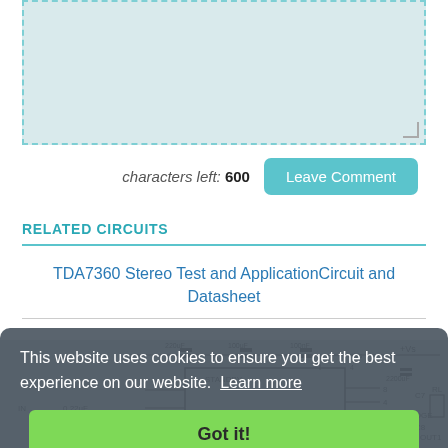[Figure (screenshot): Light blue dashed textarea input box for comment entry]
characters left: 600
Leave Comment
RELATED CIRCUITS
TDA7360 Stereo Test and ApplicationCircuit and Datasheet
[Figure (circuit-diagram): Partial circuit diagram showing components including capacitors C1, C2, C7, C8, IN, IN1(+), OUT1, OUT BRIDGE, RL, with values like 100uF, 0.22uF, 2200uF, +Vs labels]
This website uses cookies to ensure you get the best experience on our website. Learn more
Got it!